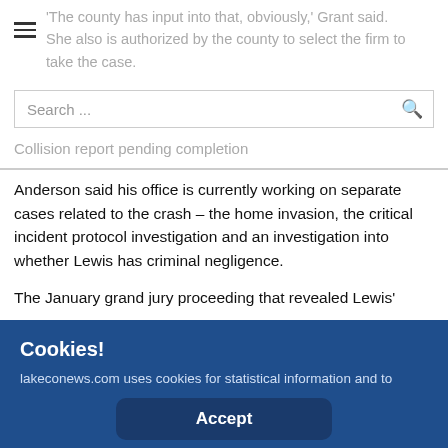'The county has input into that, obviously,' Grant said. She also is authorized by the county to select the firm to take the case.
Collision report pending completion
Anderson said his office is currently working on separate cases related to the crash – the home invasion, the critical incident protocol investigation and an investigation into whether Lewis has criminal negligence.
The January grand jury proceeding that revealed Lewis' blood alcohol issue led to a murder charge being added to
Cookies!
lakeconews.com uses cookies for statistical information and to improve the site.
Accept